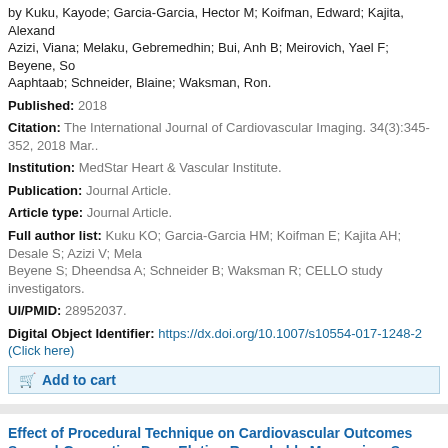by Kuku, Kayode; Garcia-Garcia, Hector M; Koifman, Edward; Kajita, Alexandra; Azizi, Viana; Melaku, Gebremedhin; Bui, Anh B; Meirovich, Yael F; Beyene, So; Aaphtaab; Schneider, Blaine; Waksman, Ron.
Published: 2018
Citation: The International Journal of Cardiovascular Imaging. 34(3):345-352, 2018 Mar..
Institution: MedStar Heart & Vascular Institute.
Publication: Journal Article.
Article type: Journal Article.
Full author list: Kuku KO; Garcia-Garcia HM; Koifman E; Kajita AH; Desale S; Azizi V; Mela; Beyene S; Dheendsa A; Schneider B; Waksman R; CELLO study investigators.
UI/PMID: 28952037.
Digital Object Identifier: https://dx.doi.org/10.1007/s10554-017-1248-2 (Click here)
Add to cart
Effect of Procedural Technique on Cardiovascular Outcomes Second-Generation Drug-Eluting Resorbable Magnesium Sca
by Garcia-Garcia, Hector M; Haude, Michael; Melaku, Gebremedhin; Ozaki, Yu
Published: 2021; ; ; ;
Citation: Cardiovascular Revascularization Medicine. 29:1-6, 2021 08.; .
Institution: MedStar Heart & Vascular Institute.
Publication: Journal Article.
Article type: Journal Article.